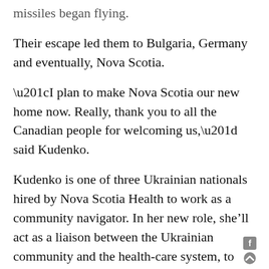missiles began flying.
Their escape led them to Bulgaria, Germany and eventually, Nova Scotia.
“I plan to make Nova Scotia our new home now. Really, thank you to all the Canadian people for welcoming us,” said Kudenko.
Kudenko is one of three Ukrainian nationals hired by Nova Scotia Health to work as a community navigator. In her new role, she’ll act as a liaison between the Ukrainian community and the health-care system, to help transition more Ukrainian health-care workers to new jobs in Nova Scotia.